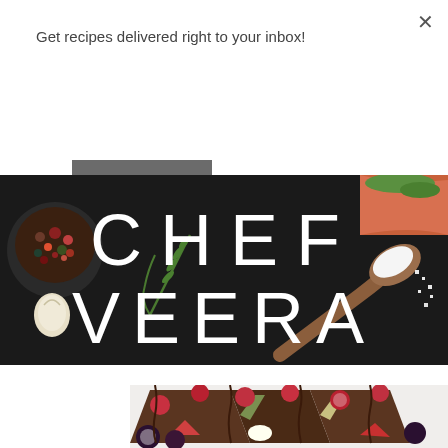Get recipes delivered right to your inbox!
Subscribe
[Figure (photo): Chef Veera banner with dark background, spices, herbs, garlic, wooden spoon with salt, white block letters spelling CHEF VEERA]
[Figure (photo): Chocolate crepes on white plate with raspberries, strawberries, chocolate drizzle and powdered sugar]